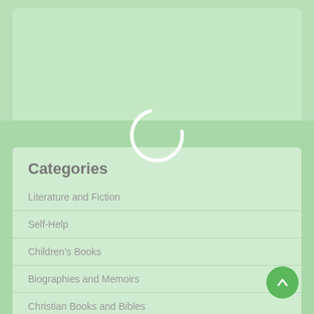[Figure (screenshot): Green background panel at the top, partially visible card or content area]
[Figure (other): Circular loading spinner icon overlaid near the center of the page]
Categories
Literature and Fiction
Self-Help
Children's Books
Biographies and Memoirs
Christian Books and Bibles